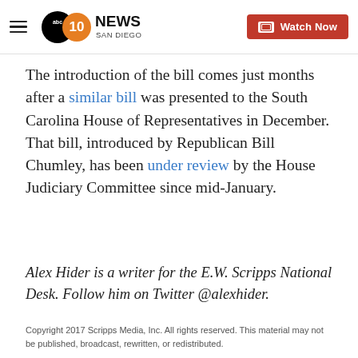10News San Diego (ABC) — Watch Now
The introduction of the bill comes just months after a similar bill was presented to the South Carolina House of Representatives in December. That bill, introduced by Republican Bill Chumley, has been under review by the House Judiciary Committee since mid-January.
Alex Hider is a writer for the E.W. Scripps National Desk. Follow him on Twitter @alexhider.
Copyright 2017 Scripps Media, Inc. All rights reserved. This material may not be published, broadcast, rewritten, or redistributed.